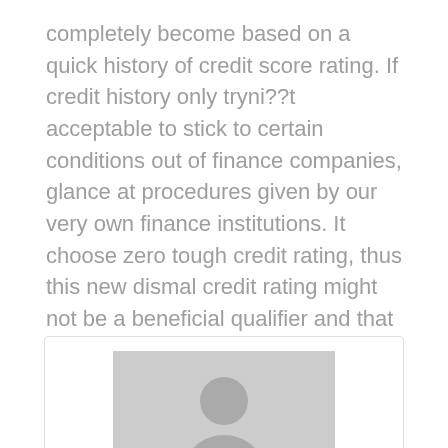completely become based on a quick history of credit score rating. If credit history only tryni??t acceptable to stick to certain conditions out of finance companies, glance at procedures given by our very own finance institutions. It choose zero tough credit rating, thus this new dismal credit rating might not be a beneficial qualifier and that is high.
[Figure (other): Facebook and Twitter social share buttons side by side]
[Figure (other): Profile/author card with a grey placeholder avatar silhouette image and a scroll-to-top button in the bottom right corner]